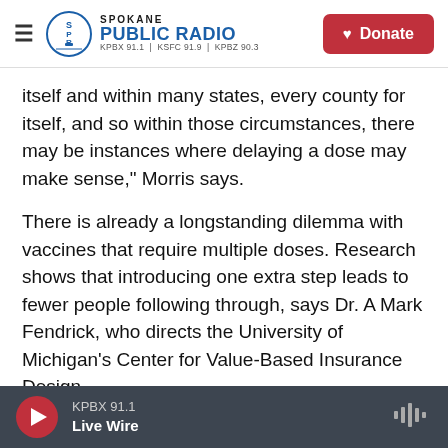Spokane Public Radio — KPBX 91.1 | KSFC 91.9 | KPBZ 90.3 — Donate
itself and within many states, every county for itself, and so within those circumstances, there may be instances where delaying a dose may make sense," Morris says.
There is already a longstanding dilemma with vaccines that require multiple doses. Research shows that introducing one extra step leads to fewer people following through, says Dr. A Mark Fendrick, who directs the University of Michigan's Center for Value-Based Insurance Design.
"Since last summer, I've been concerned about this
KPBX 91.1 — Live Wire